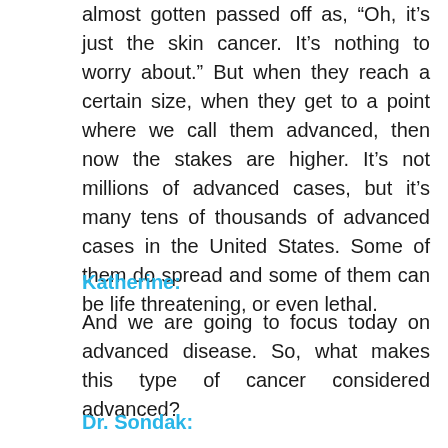almost gotten passed off as, “Oh, it’s just the skin cancer. It’s nothing to worry about.” But when they reach a certain size, when they get to a point where we call them advanced, then now the stakes are higher. It’s not millions of advanced cases, but it’s many tens of thousands of advanced cases in the United States. Some of them do spread and some of them can be life threatening, or even lethal.
Katherine:
And we are going to focus today on advanced disease. So, what makes this type of cancer considered advanced?
Dr. Sondak: